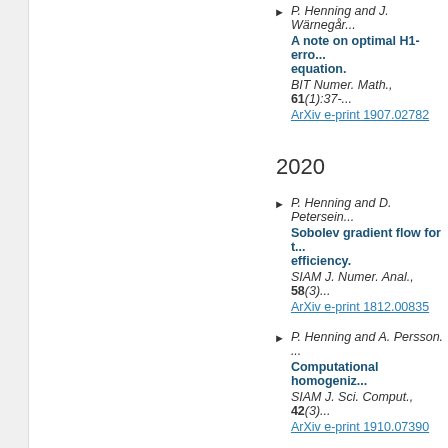P. Henning and J. Wärnegård. A note on optimal H1-error estimates for the multiscale finite element method for a model problem in perforated domains and its generalization to the Helmholtz equation. BIT Numer. Math., 61(1):37-... ArXiv e-print 1907.02782
2020
P. Henning and D. Peterseim. Sobolev gradient flow for the Gross–Pitaevskii eigenvalue problem: global convergence and computational efficiency. SIAM J. Numer. Anal., 58(3):... ArXiv e-print 1812.00835
P. Henning and A. Persson. Computational homogenization of time-harmonic Maxwell's equations. SIAM J. Sci. Comput., 42(3):... ArXiv e-print 1910.07390
R. Altmann, P. Henning and ... Quantitative Anderson localization of Schrödinger eigenstates under disorder potentials. M3AS Math. Models Methods... ArXiv e-print 1803.09950